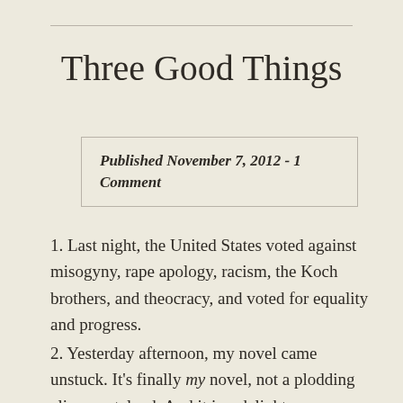Three Good Things
Published November 7, 2012 - 1 Comment
1. Last night, the United States voted against misogyny, rape apology, racism, the Koch brothers, and theocracy, and voted for equality and progress.
2. Yesterday afternoon, my novel came unstuck. It's finally my novel, not a plodding alien wasteland. And it is a delight.